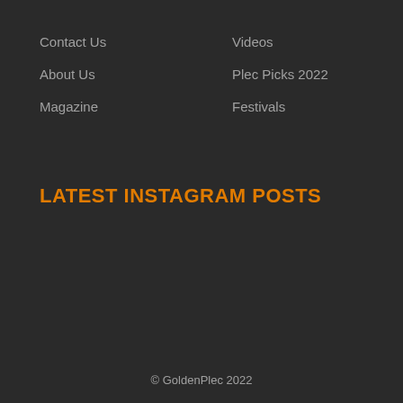Contact Us
About Us
Magazine
Videos
Plec Picks 2022
Festivals
LATEST INSTAGRAM POSTS
© GoldenPlec 2022